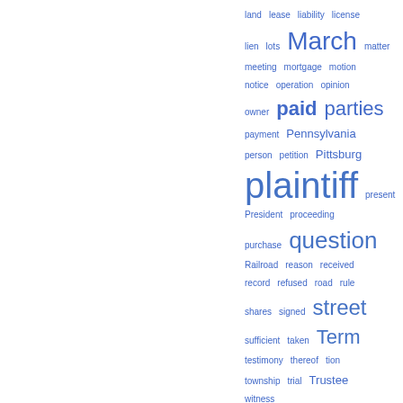[Figure (infographic): Word cloud of legal terms in blue, varying font sizes indicating frequency. Terms include: land, lease, liability, license, lien, lots, March, matter, meeting, mortgage, motion, notice, operation, opinion, owner, paid, parties, payment, Pennsylvania, person, petition, Pittsburg, plaintiff, present, President, proceeding, purchase, question, Railroad, reason, received, record, refused, road, rule, shares, signed, street, sufficient, taken, Term, testimony, thereof, tion, township, trial, Trustee, witness]